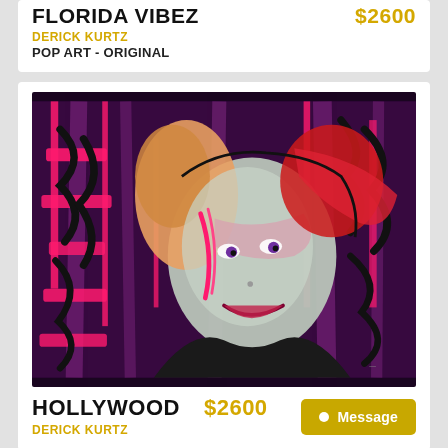FLORIDA VIBEZ
$2600
DERICK KURTZ
POP ART - ORIGINAL
[Figure (illustration): Pop art portrait painting of a woman smiling, with pink, magenta, black and grey color palette, dripping paint effects and bold brushstroke text elements in the background. Artist: Derick Kurtz, Title: HOLLYWOOD.]
HOLLYWOOD
$2600
DERICK KURTZ
Message